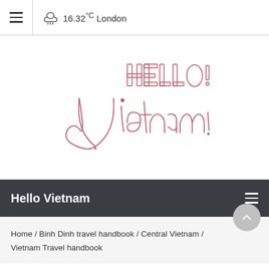☁ 16.32°C London
[Figure (illustration): Hello Vietnam script lettering logo in red/pink outline style. 'HELLO' appears in block letters at top right, 'Vietnam!' in flowing cursive script below, all in a rose/crimson outline on white background.]
Hello Vietnam
Home / Binh Dinh travel handbook / Central Vietnam / Vietnam Travel handbook